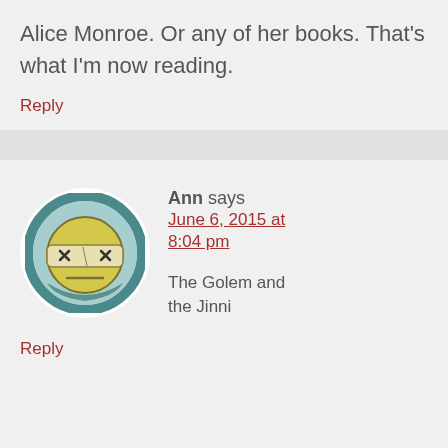Alice Monroe. Or any of her books. That's what I'm now reading.
Reply
Ann says June 6, 2015 at 8:04 pm
[Figure (illustration): Round avatar icon showing a yellow cartoon face with X eyes and a flat expression, with a teal/dark border, on a white circular background]
The Golem and the Jinni
Reply